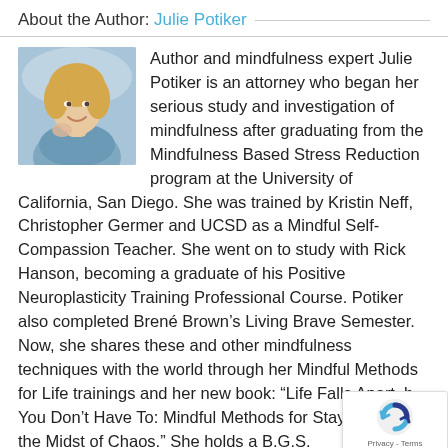About the Author: Julie Potiker
[Figure (photo): Headshot photo of Julie Potiker, a woman with blonde hair, smiling, wearing a blue and white patterned top.]
Author and mindfulness expert Julie Potiker is an attorney who began her serious study and investigation of mindfulness after graduating from the Mindfulness Based Stress Reduction program at the University of California, San Diego. She was trained by Kristin Neff, Christopher Germer and UCSD as a Mindful Self-Compassion Teacher. She went on to study with Rick Hanson, becoming a graduate of his Positive Neuroplasticity Training Professional Course. Potiker also completed Brené Brown's Living Brave Semester. Now, she shares these and other mindfulness techniques with the world through her Mindful Methods for Life trainings and her new book: “Life Falls Apart, b You Don’t Have To: Mindful Methods for Stayin Calm In the Midst of Chaos.” She holds a B.G.S.
[Figure (other): reCAPTCHA badge with Privacy - Terms label]